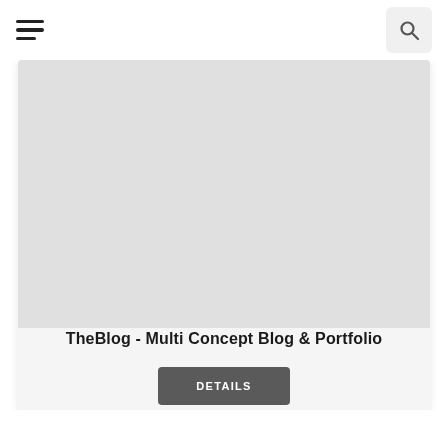Navigation bar with hamburger menu and search button
[Figure (screenshot): Gray placeholder image area inside a card]
TheBlog - Multi Concept Blog & Portfolio
DETAILS